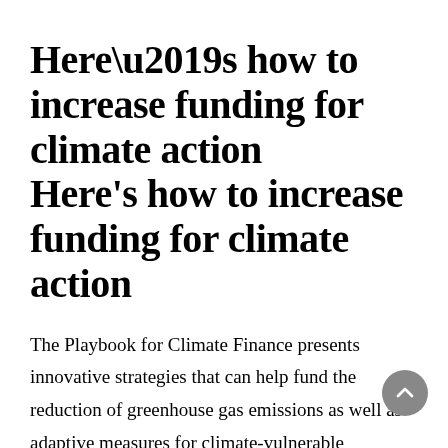Here’s how to increase funding for climate action
The Playbook for Climate Finance presents innovative strategies that can help fund the reduction of greenhouse gas emissions as well as adaptive measures for climate-vulnerable communities around the world. A range of public, private and alternative funders have shown that the climate finance models outlined in this guide can work across different geographies and capacities to enable an effective...